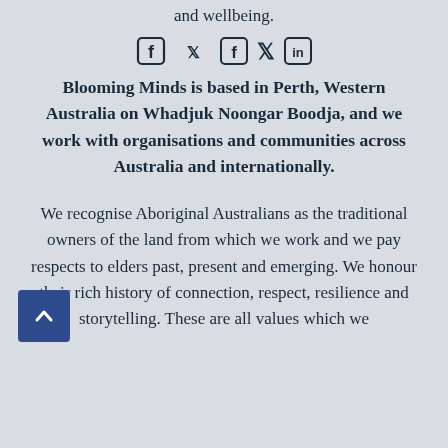and wellbeing.
[Figure (illustration): Social media icons: Facebook, Twitter, LinkedIn]
Blooming Minds is based in Perth, Western Australia on Whadjuk Noongar Boodja, and we work with organisations and communities across Australia and internationally.
We recognise Aboriginal Australians as the traditional owners of the land from which we work and we pay respects to elders past, present and emerging. We honour their rich history of connection, respect, resilience and storytelling. These are all values which we
[Figure (illustration): Blue scroll-to-top button with upward chevron arrow]